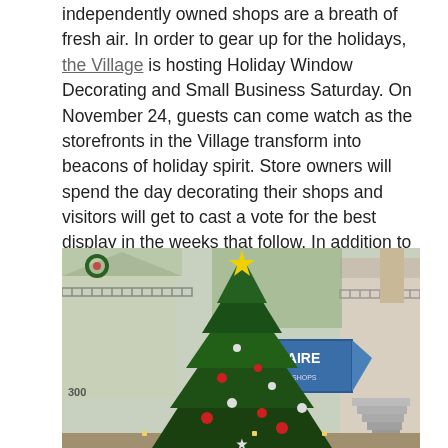independently owned shops are a breath of fresh air. In order to gear up for the holidays, the Village is hosting Holiday Window Decorating and Small Business Saturday. On November 24, guests can come watch as the storefronts in the Village transform into beacons of holiday spirit. Store owners will spend the day decorating their shops and visitors will get to cast a vote for the best display in the weeks that follow. In addition to window decorating, the Village will be supporting the Shop Small Movement. Business owners will be offering deals and merchants will be on site to interact with guests.
[Figure (photo): Outdoor photo of a decorated Christmas tree with red and silver ornaments in front of a shopping village with a blue sign reading 'E FAIRE' (Arts & Shops), building number 300, railings, and stairs visible in the background.]